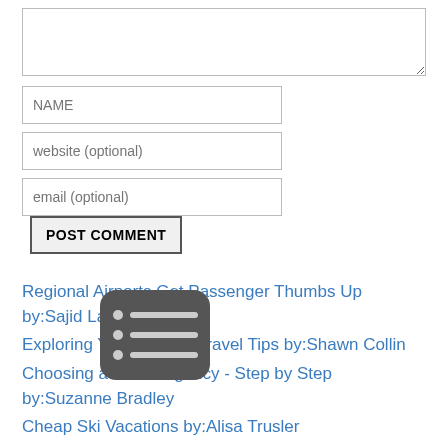[Figure (screenshot): Web comment form with a large textarea at top, a NAME input field, a website (optional) input field, an email (optional) input field, and a POST COMMENT button]
Regional Airports Get Passenger Thumbs Up by:Sajid Latif
Exploring Yellowstone: Travel Tips by:Shawn Collin
Choosing a Travel Agency - Step by Step by:Suzanne Bradley
Cheap Ski Vacations by:Alisa Trusler
Get The Best Pictures On Your Vacation by:Anita Barbaric
Best Gardens of Chandigarh by:David H. Urmann
Taj Resorts of Baroda by:David H. Urmann
Interesting Facts About Jamshedpur by:David H. Urmann
Exciting Trips to India by:David H. Urmann